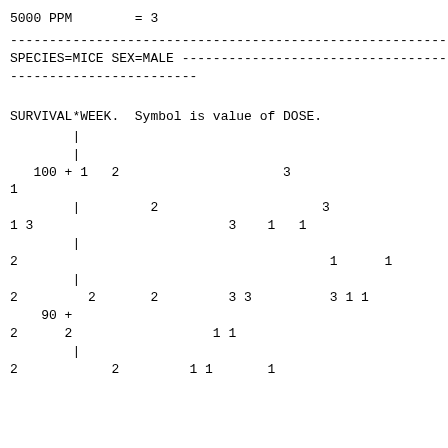5000 PPM        = 3
------------------------------------------------------------------------
SPECIES=MICE SEX=MALE ----------------------------------------
------------------------
Plot of
SURVIVAL*WEEK.  Symbol is value of DOSE.
[Figure (continuous-plot): ASCII character scatter plot of SURVIVAL vs WEEK for SPECIES=MICE SEX=MALE. Y-axis shows survival values (90-100 range visible), symbols 1, 2, 3 represent DOSE values plotted at various positions.]